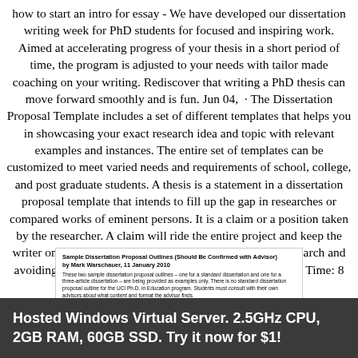how to start an intro for essay - We have developed our dissertation writing week for PhD students for focused and inspiring work. Aimed at accelerating progress of your thesis in a short period of time, the program is adjusted to your needs with tailor made coaching on your writing. Rediscover that writing a PhD thesis can move forward smoothly and is fun. Jun 04, · The Dissertation Proposal Template includes a set of different templates that helps you in showcasing your exact research idea and topic with relevant examples and instances. The entire set of templates can be customized to meet varied needs and requirements of school, college, and post graduate students. A thesis is a statement in a dissertation proposal template that intends to fill up the gap in researches or compared works of eminent persons. It is a claim or a position taken by the researcher. A claim will ride the entire project and keep the writer on track in terms of sticking to the theme of the research and avoiding unnecessary sarabetsu-jp.somee.comted Reading Time: 8 mins. martha parra dissertation 2002
[Figure (screenshot): Thumbnail image of a document titled 'Sample Dissertation Proposal Outlines (Should Be Confirmed with Advisor) by Mark Warschauer, 11 January 2010' with body text describing two sample dissertation proposal outlines.]
Hosted Windows Virtual Server. 2.5GHz CPU, 2GB RAM, 60GB SSD. Try it now for $1!